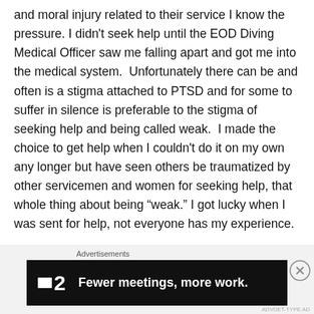and moral injury related to their service I know the pressure. I didn’t seek help until the EOD Diving Medical Officer saw me falling apart and got me into the medical system.  Unfortunately there can be and often is a stigma attached to PTSD and for some to suffer in silence is preferable to the stigma of seeking help and being called weak.  I made the choice to get help when I couldn’t do it on my own any longer but have seen others be traumatized by other servicemen and women for seeking help, that whole thing about being “weak.” I got lucky when I was sent for help, not everyone has my experience.
Despite that I encourage those suffering from such injuries to seek help because there are a lot of us out here that
[Figure (screenshot): Advertisement banner with dark background showing a logo with a small white square icon followed by '2' and the text 'Fewer meetings, more work.' in bold white text on a black background. Above the banner is the label 'Advertisements'. A close (X) button appears in a circle to the right.]